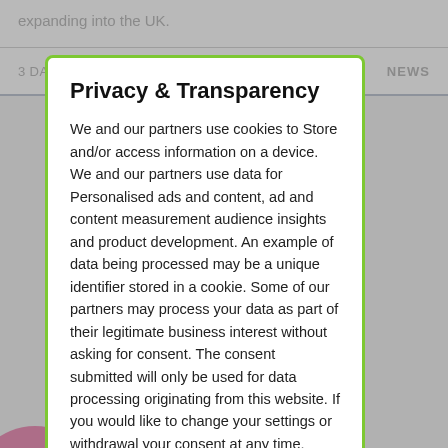expanding into the UK.
3 DAYS AGO
NEWS
Privacy & Transparency
We and our partners use cookies to Store and/or access information on a device. We and our partners use data for Personalised ads and content, ad and content measurement audience insights and product development. An example of data being processed may be a unique identifier stored in a cookie. Some of our partners may process your data as part of their legitimate business interest without asking for consent. The consent submitted will only be used for data processing originating from this website. If you would like to change your settings or withdrawal your consent at any time, information to do so is in our privacy policy.
Manage
Allow